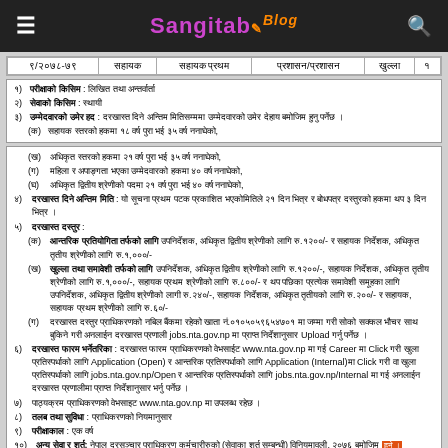Sangitab Blog
| ९/२०७८-७९ | सहायक | सहायक प्रथम | प्रशासन/प्रशासन | खुल्ला | १ |
| --- | --- | --- | --- | --- | --- |
| ९/२०७८-७९ | सहायक | सहायक प्रथम | प्रशासन/प्रशासन | खुल्ला | १ |
१) परीक्षाको किसिम : लिखित तथा अन्तर्वार्ता
२) सेवाको किसिम : स्थायी
३) उम्मेदवारको उमेर हद : दरखास्त दिने अन्तिम मितिसम्ममा उम्मेदवारको उमेर देहाय बमोजिम हुनु पर्नेछ ।
(क) सहायक स्तरको हकमा १८ वर्ष पुरा भई ३५ वर्ष ननाघेको,
(ख) अधिकृत स्तरको हकमा २१ वर्ष पुरा भई ३५ वर्ष ननाघेको,
(ग) महिला र अपाङ्गता भएका उम्मेदवारको हकमा ४० वर्ष ननाघेको,
(घ) अधिकृत द्वितीय श्रेणीको पदमा २१ वर्ष पुरा भई ४० वर्ष ननाघेको,
४) दरखास्त दिने अन्तिम मिति : यो सूचना प्रथम पटक प्रकाशित भएकोमितिले २१ दिन भित्र र बोधपत्र दस्तुरको हकमा थप ३ दिन भित्र ।
५) दरखास्त दस्तुर :
(क) आन्तरिक प्रतियोगिता तर्फको लागि उपनिर्देशक, अधिकृत द्वितीय श्रेणीको लागि रु.१२००/- र सहायक निर्देशक, अधिकृत तृतीय श्रेणीको लागि रु.१,०००/-
(ख) खुल्ला तथा समावेशी तर्फको लागि उपनिर्देशक, अधिकृत द्वितीय श्रेणीको लागि रु.१२००/-, सहायक निर्देशक, अधिकृत तृतीय श्रेणीको लागि रु.१,०००/-, सहायक प्रथम श्रेणीको लागि रु.८००/- र थप पछिका प्रत्येक समावेशी समूहका लागि उपनिर्देशक, अधिकृत द्वितीय श्रेणीको लागी रु.२४०/-, सहायक निर्देशक, अधिकृत तृतीयको लागि रु.२००/- र सहायक, सहायक प्रथम श्रेणीको लागि रु.६०/-
(ग) दरखास्त दस्तुर प्राधिकरणको नबिल बैंकमा रहेको खाता नं.०१०५०५९६५४७०१ मा जम्मा गरी सोको सक्कल भौचर साथ बुकिने गरी अनलाईन दरखास्त प्रणाली jobs.nta.gov.np मा प्राप्त निर्देशानुसार Upload गर्नु पर्नेछ ।
६) दरखास्त फारम भर्नेतरिका : दरखास्त फारम प्राधिकरणको वेभसाईट www.nta.gov.np मा गई Career मा Click गरी खुला प्रतिस्पर्धाको लागि Application (Open) र आन्तरिक प्रतिस्पर्धाको लागि Application (Internal)मा Click गरी वा खुला प्रतिस्पर्धाको लागि jobs.nta.gov.np/Open र आन्तरिक प्रतिस्पर्धाको लागि jobs.nta.gov.np/Internal मा गई अनलाईन दरखास्त प्रणालीमा प्राप्त निर्देशानुसार भर्नु पर्नेछ ।
७) पाठ्यक्रम प्राधिकरणको वेभसाइट www.nta.gov.np मा उपलब्ध रहेछ ।
८) तलब तथा सुविधा : प्राधिकरणको नियमानुसार
९) परीक्षाकाल : एक वर्ष
१०) अन्य सेवा र शर्त: नेपाल दूरसञ्चार प्राधिकरण कर्मचारीरुको (सेवाका शर्त सम्बन्धी) विनियमावली, २०७६ बमोजिम हुने ।
११) लिखित परीक्षा कार्यक्रम तथा परीक्षा केन्द्र : प्राधिकरणको वेब साईट र राष्ट्रिय दैनिक पत्रिका गोरखापत्रमा पछि प्रकाशित गरिनेछ ।
आवश्यक न्यूनतम योग्यता